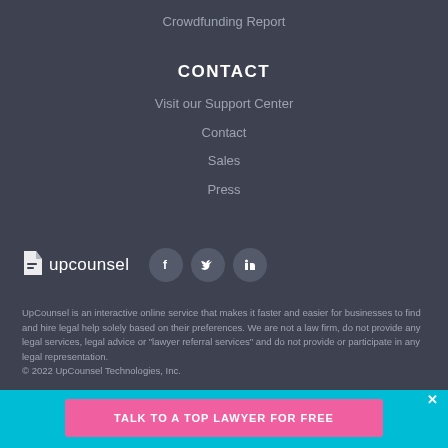Crowdfunding Report
CONTACT
Visit our Support Center
Contact
Sales
Press
[Figure (logo): UpCounsel logo with page icon and wordmark, followed by Facebook, Twitter, and LinkedIn social media icon circles]
UpCounsel is an interactive online service that makes it faster and easier for businesses to find and hire legal help solely based on their preferences. We are not a law firm, do not provide any legal services, legal advice or "lawyer referral services" and do not provide or participate in any legal representation.
© 2022 UpCounsel Technologies, Inc.
TALK TO A TOP LAWYER FOR FREE